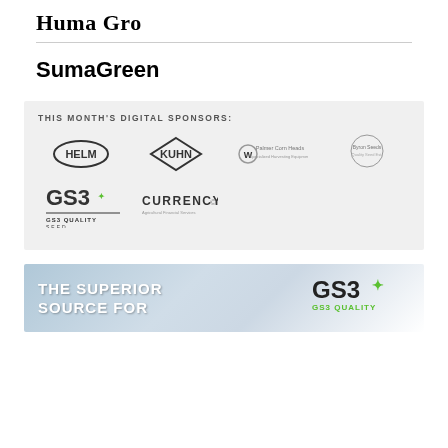Huma Gro
SumaGreen
[Figure (infographic): Digital sponsors section with logos: HELM (oval), KUHN (diamond), Palmer Corn Heads, Byron Seeds, GS3 Quality Seed, CURRENCY]
[Figure (infographic): GS3 Quality Seed advertisement banner: 'THE SUPERIOR SOURCE FOR' with GS3 Quality logo on right, blue/grey gradient background]